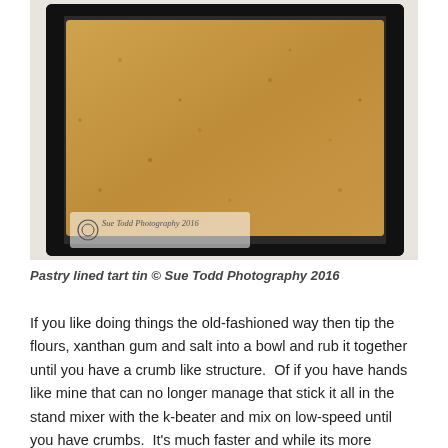[Figure (photo): A rectangular tart tin with fluted dark edges, lined with pale golden-brown baked pastry, viewed from above on a white surface. Watermark reads 'Sue Todd Photography 2016' in the lower left corner.]
Pastry lined tart tin © Sue Todd Photography 2016
If you like doing things the old-fashioned way then tip the flours, xanthan gum and salt into a bowl and rub it together until you have a crumb like structure.  Of if you have hands like mine that can no longer manage that stick it all in the stand mixer with the k-beater and mix on low-speed until you have crumbs.  It's much faster and while its more washing up you can do other things while its mixing.  On the Kitchen Aid I